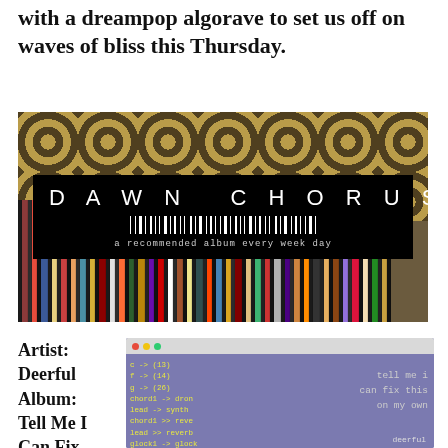with a dreampop algorave to set us off on waves of bliss this Thursday.
[Figure (photo): Dawn Chorus banner over a background of vinyl record spines and a hexagonal wallpaper pattern. Black banner reads 'DAWN CHORUS' with a barcode strip and subtitle 'a recommended album every week day'.]
Artist: Deerful
Album: Tell Me I Can Fix
[Figure (photo): Album cover for 'Tell Me I Can Fix This On My Own' by Deerful. Purple background with code editor window open showing Sonic Pi code, a figure silhouette, and monospace text reading 'tell me i can fix this on my own deerful'.]